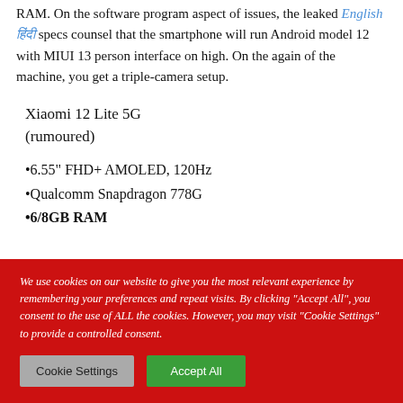RAM. On the software program aspect of issues, the leaked specs counsel that the smartphone will run Android model 12 with MIUI 13 person interface on high. On the again of the machine, you get a triple-camera setup.
Xiaomi 12 Lite 5G (rumoured)
•6.55" FHD+ AMOLED, 120Hz
•Qualcomm Snapdragon 778G
•6/8GB RAM
We use cookies on our website to give you the most relevant experience by remembering your preferences and repeat visits. By clicking "Accept All", you consent to the use of ALL the cookies. However, you may visit "Cookie Settings" to provide a controlled consent.